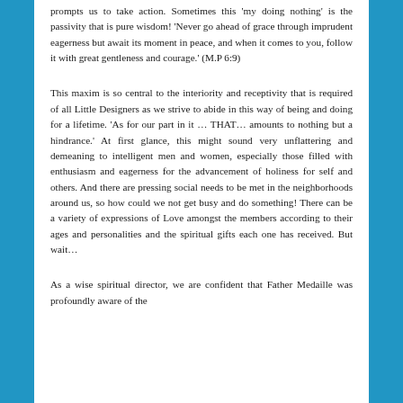prompts us to take action. Sometimes this ‘my doing nothing’ is the passivity that is pure wisdom! ‘Never go ahead of grace through imprudent eagerness but await its moment in peace, and when it comes to you, follow it with great gentleness and courage.’ (M.P 6:9)
This maxim is so central to the interiority and receptivity that is required of all Little Designers as we strive to abide in this way of being and doing for a lifetime. ‘As for our part in it … THAT… amounts to nothing but a hindrance.’ At first glance, this might sound very unflattering and demeaning to intelligent men and women, especially those filled with enthusiasm and eagerness for the advancement of holiness for self and others. And there are pressing social needs to be met in the neighborhoods around us, so how could we not get busy and do something! There can be a variety of expressions of Love amongst the members according to their ages and personalities and the spiritual gifts each one has received. But wait…
As a wise spiritual director, we are confident that Father Medaille was profoundly aware of the